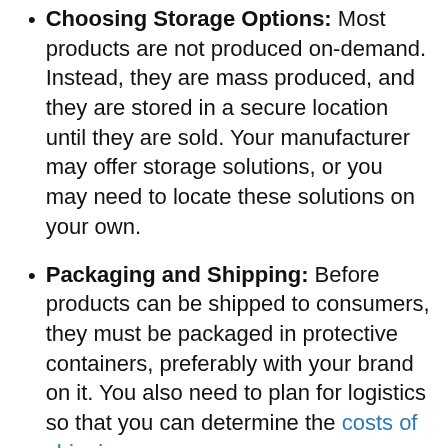Choosing Storage Options: Most products are not produced on-demand. Instead, they are mass produced, and they are stored in a secure location until they are sold. Your manufacturer may offer storage solutions, or you may need to locate these solutions on your own.
Packaging and Shipping: Before products can be shipped to consumers, they must be packaged in protective containers, preferably with your brand on it. You also need to plan for logistics so that you can determine the costs of shipping.
Exploring Additional Costs: After you have...